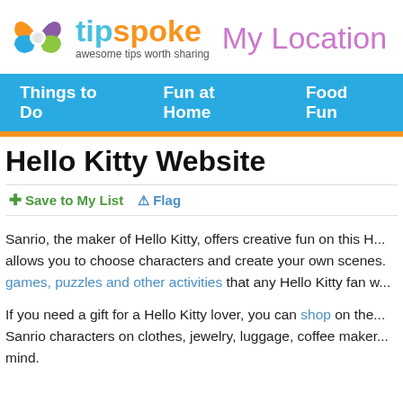[Figure (logo): Tipspoke logo with swirling colored petals (orange, purple, blue, green) and the text 'tipspoke' in teal/orange, tagline 'awesome tips worth sharing']
My Location
Things to Do   Fun at Home   Food Fun
Hello Kitty Website
+ Save to My List  ⚠ Flag
Sanrio, the maker of Hello Kitty, offers creative fun on this H... allows you to choose characters and create your own scenes... games, puzzles and other activities that any Hello Kitty fan w...
If you need a gift for a Hello Kitty lover, you can shop on the... Sanrio characters on clothes, jewelry, luggage, coffee maker... mind.